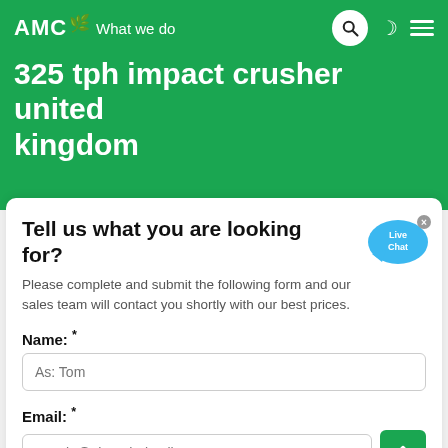AMC — What we do
325 tph impact crusher united kingdom
Tell us what you are looking for?
Please complete and submit the following form and our sales team will contact you shortly with our best prices.
Name: *
As: Tom
Email: *
As: vip@shanghaimeilan.com
Phone: *
With Country Code